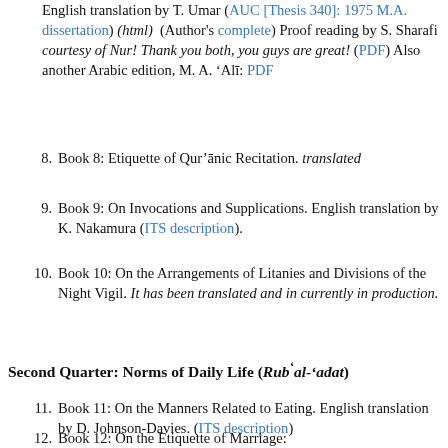English translation by T. Umar (AUC [Thesis 340]: 1975 M.A. dissertation) (html) (Author's complete) Proof reading by S. Sharafi courtesy of Nur! Thank you both, you guys are great! (PDF) Also another Arabic edition, M. A. 'Alī: PDF
8. Book 8: Etiquette of Qur'ānic Recitation. translated
9. Book 9: On Invocations and Supplications. English translation by K. Nakamura (ITS description).
10. Book 10: On the Arrangements of Litanies and Divisions of the Night Vigil. It has been translated and in currently in production.
Second Quarter: Norms of Daily Life (Rubʿal-ʿadat)
11. Book 11: On the Manners Related to Eating. English translation by D. Johnson-Davies. (ITS description)
12. Book 12: On the Etiquette of Marriage: Arabic original (Word file format only!) with hadīth verifications.